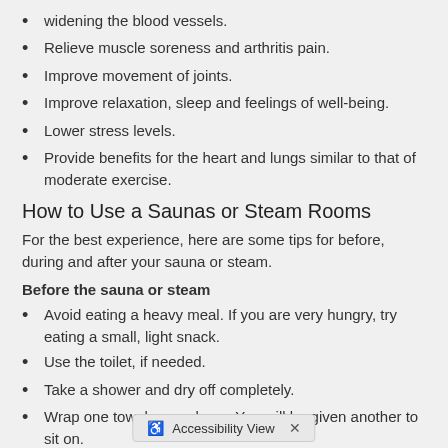widening the blood vessels.
Relieve muscle soreness and arthritis pain.
Improve movement of joints.
Improve relaxation, sleep and feelings of well-being.
Lower stress levels.
Provide benefits for the heart and lungs similar to that of moderate exercise.
How to Use a Saunas or Steam Rooms
For the best experience, here are some tips for before, during and after your sauna or steam.
Before the sauna or steam
Avoid eating a heavy meal. If you are very hungry, try eating a small, light snack.
Use the toilet, if needed.
Take a shower and dry off completely.
Wrap one towel around you. You will be given another to sit on.
You can prepare for the treat by taking a warm foot bath for 3 to 5 minutes.